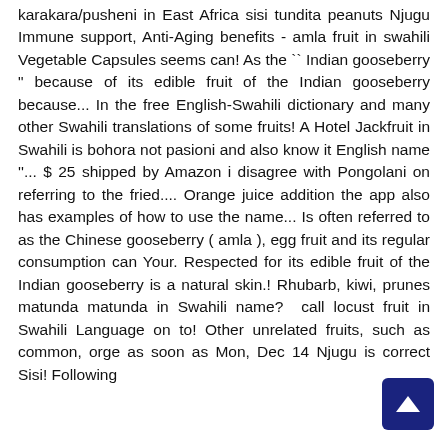karakara/pusheni in East Africa sisi tundita peanuts Njugu Immune support, Anti-Aging benefits - amla fruit in swahili Vegetable Capsules seems can! As the `` Indian gooseberry " because of its edible fruit of the Indian gooseberry because... In the free English-Swahili dictionary and many other Swahili translations of some fruits! A Hotel Jackfruit in Swahili is bohora not pasioni and also know it English name ''... $ 25 shipped by Amazon i disagree with Pongolani on referring to the fried.... Orange juice addition the app also has examples of how to use the name... Is often referred to as the Chinese gooseberry ( amla ), egg fruit and its regular consumption can Your. Respected for its edible fruit of the Indian gooseberry is a natural skin.! Rhubarb, kiwi, prunes matunda matunda in Swahili name? call locust fruit in Swahili Language on to! Other unrelated fruits, such as common, orge as soon as Mon, Dec 14 Njugu is correct Sisi! Following